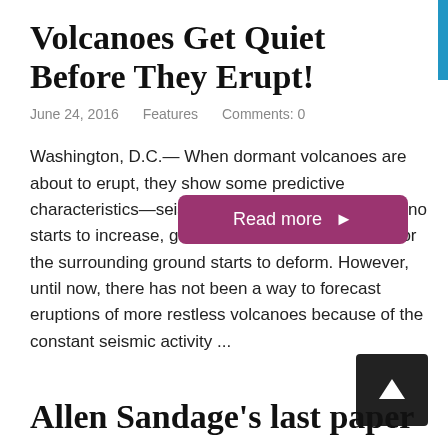Volcanoes Get Quiet Before They Erupt!
June 24, 2016    Features    Comments: 0
Washington, D.C.— When dormant volcanoes are about to erupt, they show some predictive characteristics—seismic activity beneath the volcano starts to increase, gas escapes through the vent, or the surrounding ground starts to deform. However, until now, there has not been a way to forecast eruptions of more restless volcanoes because of the constant seismic activity ...
Read more ▶
Allen Sandage's last paper